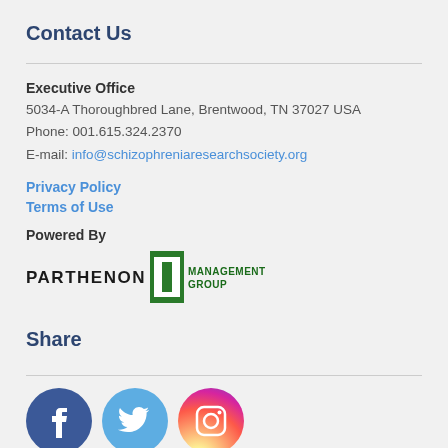Contact Us
Executive Office
5034-A Thoroughbred Lane, Brentwood, TN 37027 USA
Phone: 001.615.324.2370
E-mail: info@schizophreniaresearchsociety.org
Privacy Policy
Terms of Use
Powered By
[Figure (logo): Parthenon Management Group logo with green column icon]
Share
[Figure (illustration): Social media icons: Facebook, Twitter, Instagram]